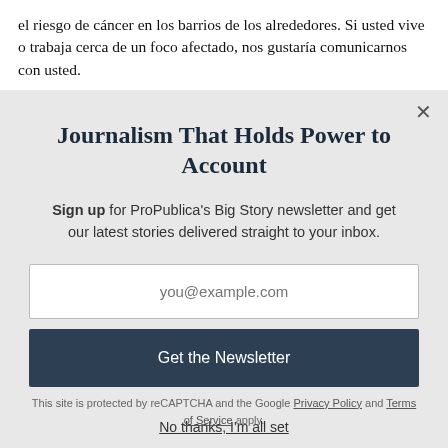el riesgo de cáncer en los barrios de los alrededores. Si usted vive o trabaja cerca de un foco afectado, nos gustaría comunicarnos con usted.
Nov. 15, 2021, 3:18 p.m. EST
Journalism That Holds Power to Account
Sign up for ProPublica's Big Story newsletter and get our latest stories delivered straight to your inbox.
you@example.com
Get the Newsletter
No thanks, I'm all set
This site is protected by reCAPTCHA and the Google Privacy Policy and Terms of Service apply.